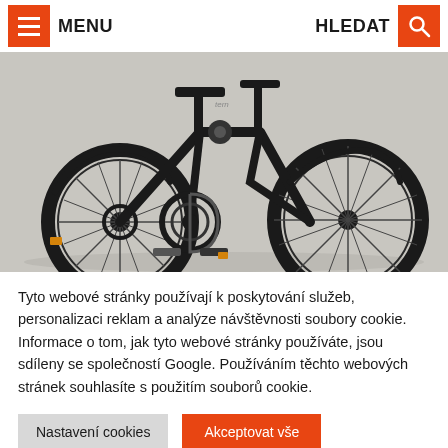MENU   HLEDAT
[Figure (photo): Close-up photo of a black folding bicycle (Tern brand) showing the rear wheel, chain, gears, and partial front wheel on a light grey background.]
Tyto webové stránky používají k poskytování služeb, personalizaci reklam a analýze návštěvnosti soubory cookie. Informace o tom, jak tyto webové stránky používáte, jsou sdíleny se společností Google. Používáním těchto webových stránek souhlasíte s použitím souborů cookie.
Nastavení cookies   Akceptovat vše